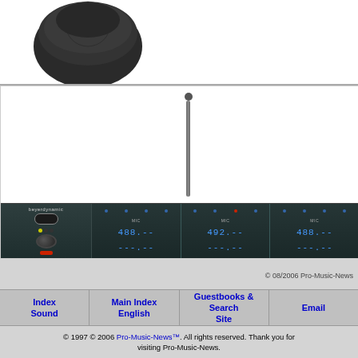[Figure (photo): Close-up of a dark/black microphone head (capsule) against a white background, partially cropped at top of page]
[Figure (photo): Beyerdynamic wireless receiver rack unit with antenna extended upward, showing front panel with channel modules displaying blue LED frequency digits and control knobs, against white background]
© 08/2006 Pro-Music-News
| Index Sound | Main Index English | Guestbooks & Search Site | Email |
| --- | --- | --- | --- |
© 1997 © 2006 Pro-Music-News™. All rights reserved. Thank you for visiting Pro-Music-News.